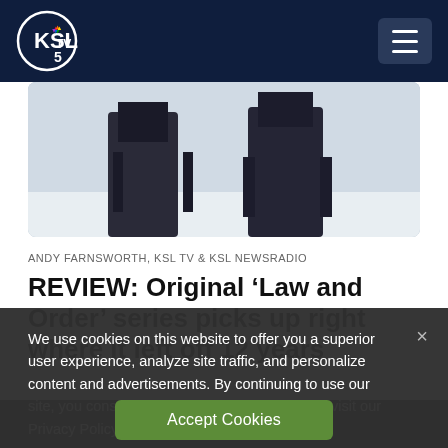KSL TV 5 — Navigation header with logo and menu button
[Figure (photo): Two people in dark winter coats standing in a snowy outdoor setting, photographed from behind/side]
ANDY FARNSWORTH, KSL TV & KSL NEWSRADIO
REVIEW: Original 'Law and Order' series picks up right where it left off 12 years
We use cookies on this website to offer you a superior user experience, analyze site traffic, and personalize content and advertisements. By continuing to use our site, you consent to our use of cookies. Please visit our Privacy Policy for more information.
Accept Cookies